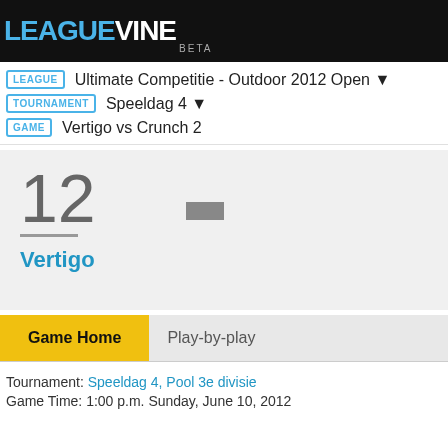LEAGUEVINE BETA
LEAGUE  Ultimate Competitie - Outdoor 2012 Open ▼
TOURNAMENT  Speeldag 4 ▼
GAME  Vertigo vs Crunch 2
12 — Vertigo
Game Home  Play-by-play
Tournament: Speeldag 4, Pool 3e divisie
Game Time: 1:00 p.m. Sunday, June 10, 2012